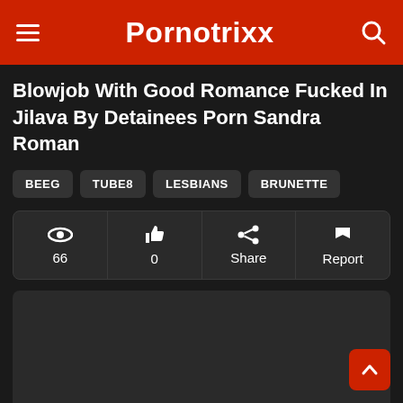Pornotrixx
Blowjob With Good Romance Fucked In Jilava By Detainees Porn Sandra Roman
BEEG
TUBE8
LESBIANS
BRUNETTE
[Figure (screenshot): Stats bar with eye icon showing 66 views, thumbs up icon showing 0 likes, share icon with label Share, flag icon with label Report]
[Figure (screenshot): Dark video player placeholder area]